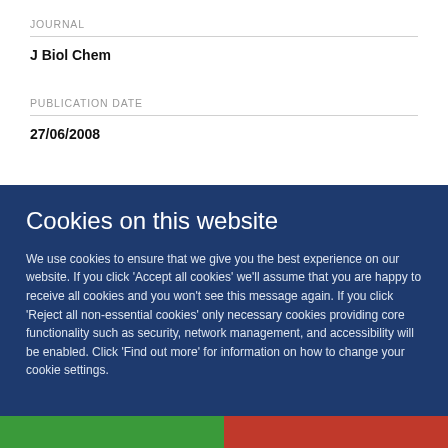JOURNAL
J Biol Chem
PUBLICATION DATE
27/06/2008
Cookies on this website
We use cookies to ensure that we give you the best experience on our website. If you click 'Accept all cookies' we'll assume that you are happy to receive all cookies and you won't see this message again. If you click 'Reject all non-essential cookies' only necessary cookies providing core functionality such as security, network management, and accessibility will be enabled. Click 'Find out more' for information on how to change your cookie settings.